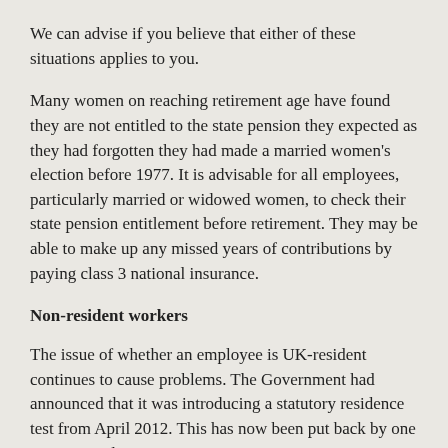We can advise if you believe that either of these situations applies to you.
Many women on reaching retirement age have found they are not entitled to the state pension they expected as they had forgotten they had made a married women's election before 1977. It is advisable for all employees, particularly married or widowed women, to check their state pension entitlement before retirement. They may be able to make up any missed years of contributions by paying class 3 national insurance.
Non-resident workers
The issue of whether an employee is UK-resident continues to cause problems. The Government had announced that it was introducing a statutory residence test from April 2012. This has now been put back by one year to April 2013.
In the meantime, residence is determined under the existing rules which have recently been clarified by the Supreme Court. We